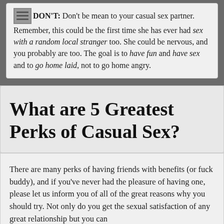DON'T: Don't be mean to your casual sex partner. Remember, this could be the first time she has ever had sex with a random local stranger too. She could be nervous, and you probably are too. The goal is to have fun and have sex and to go home laid, not to go home angry.
What are 5 Greatest Perks of Casual Sex?
There are many perks of having friends with benefits (or fuck buddy), and if you've never had the pleasure of having one, please let us inform you of all of the great reasons why you should try. Not only do you get the sexual satisfaction of any great relationship but you can